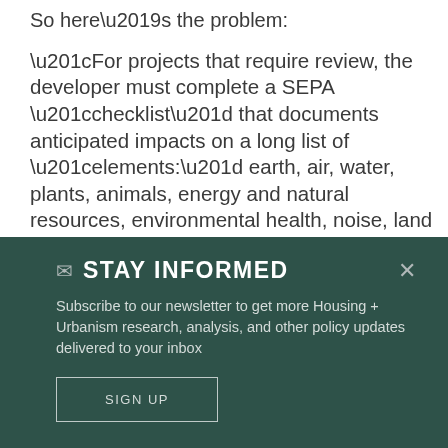So here's the problem:
“For projects that require review, the developer must complete a SEPA “checklist” that documents anticipated impacts on a long list of “elements:” earth, air, water, plants, animals, energy and natural resources, environmental health, noise, land and shoreline use, housing, aesthetics, light and glare, recreation, historic and cultural preservation, transportation, public...
STAY INFORMED
Subscribe to our newsletter to get more Housing + Urbanism research, analysis, and other policy updates delivered to your inbox
SIGN UP